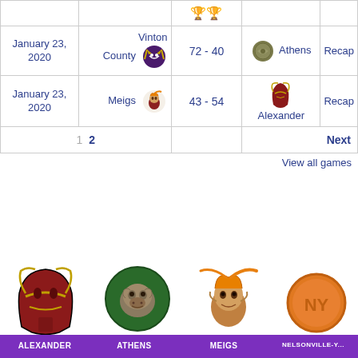| Date | Team 1 | Score | Team 2 | Recap |
| --- | --- | --- | --- | --- |
| January 23, 2020 | Vinton County | 72 - 40 | Athens | Recap |
| January 23, 2020 | Meigs | 43 - 54 | Alexander | Recap |
1  2    Next
View all games
[Figure (logo): Alexander Spartans mascot logo - dark red spartan helmet]
[Figure (logo): Athens Bulldogs mascot logo - green bulldog]
[Figure (logo): Meigs mascot logo - roman warrior with orange plume]
[Figure (logo): Nelsonville-York mascot logo - orange circle with NY letters]
ALEXANDER
ATHENS
MEIGS
NELSONVILLE-Y...